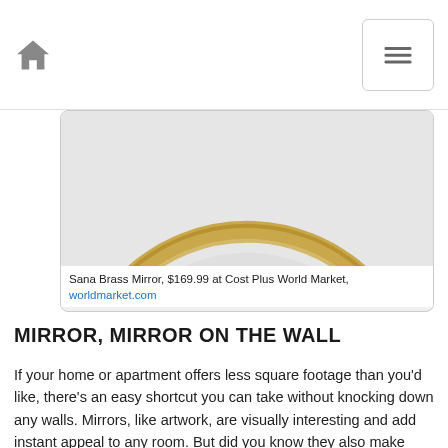Home navigation and menu
[Figure (photo): Top portion of a round gold-framed mirror (Sana Brass Mirror) against a light gray background, showing the upper arc of the gold metal frame]
Sana Brass Mirror, $169.99 at Cost Plus World Market, worldmarket.com
MIRROR, MIRROR ON THE WALL
If your home or apartment offers less square footage than you'd like, there's an easy shortcut you can take without knocking down any walls. Mirrors, like artwork, are visually interesting and add instant appeal to any room. But did you know they also make spaces feel more expansive? By placing a large framed mirror on a wall directly across from a big window or bright white wall, you can open up your space without making any physical changes to the structure.